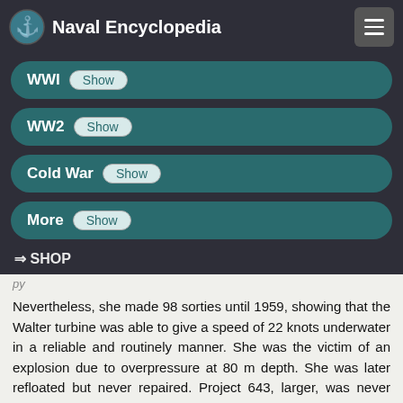Naval Encyclopedia
WWI Show
WW2 Show
Cold War Show
More Show
⇒ SHOP
(partial/cut-off text)
Nevertheless, she made 98 sorties until 1959, showing that the Walter turbine was able to give a speed of 22 knots underwater in a reliable and routinely manner. She was the victim of an explosion due to overpressure at 80 m depth. She was later refloated but never repaired. Project 643, larger, was never completed nor tested. Nuclear power made these attempts at closed loop engines now obsolete.
-Miscellaneous